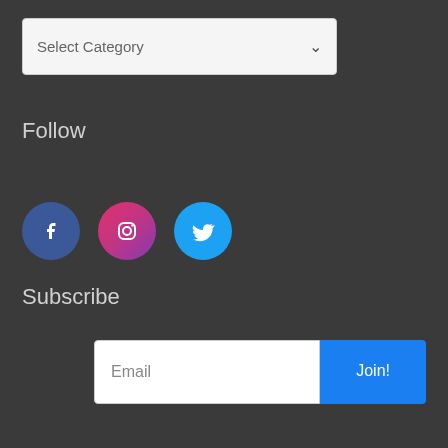Select Category
Follow
[Figure (illustration): Three social media icons in circles: Facebook (blue), Instagram (pink/red gradient), Twitter (light blue)]
Subscribe
Email
Join!